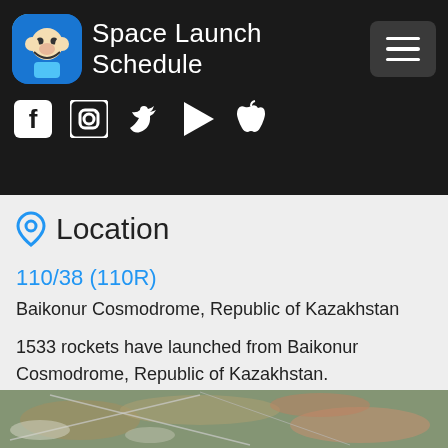Space Launch Schedule
Location
110/38 (110R)
Baikonur Cosmodrome, Republic of Kazakhstan
1533 rockets have launched from Baikonur Cosmodrome, Republic of Kazakhstan.
[Figure (photo): Satellite aerial view of Baikonur Cosmodrome launch area showing runways and terrain]